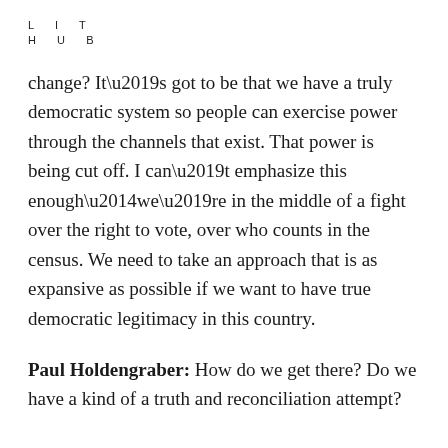LIT
HUB
change? It’s got to be that we have a truly democratic system so people can exercise power through the channels that exist. That power is being cut off. I can’t emphasize this enough—we’re in the middle of a fight over the right to vote, over who counts in the census. We need to take an approach that is as expansive as possible if we want to have true democratic legitimacy in this country.
Paul Holdengraber: How do we get there? Do we have a kind of a truth and reconciliation attempt?